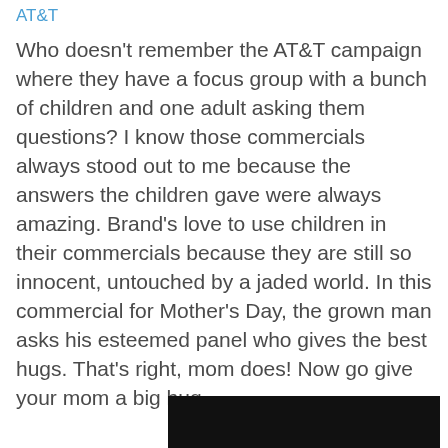AT&T
Who doesn't remember the AT&T campaign where they have a focus group with a bunch of children and one adult asking them questions? I know those commercials always stood out to me because the answers the children gave were always amazing. Brand's love to use children in their commercials because they are still so innocent, untouched by a jaded world. In this commercial for Mother's Day, the grown man asks his esteemed panel who gives the best hugs. That's right, mom does! Now go give your mom a big hug.
[Figure (screenshot): Black video thumbnail at the bottom of the page]